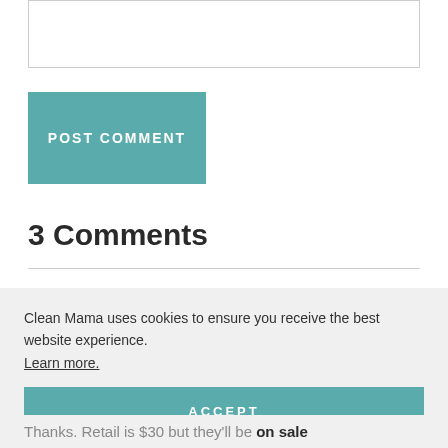[Figure (other): Empty text input/comment box with a thin gray border]
POST COMMENT
3 Comments
Clean Mama uses cookies to ensure you receive the best website experience. Learn more.
ACCEPT
Thanks. Retail is $30 but they'll be on sale